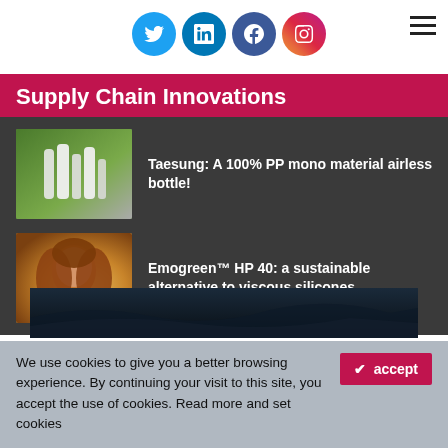[Figure (illustration): Social media icons: Twitter (blue bird), LinkedIn (blue), Facebook (blue), Instagram (red gradient), with hamburger menu icon on the right]
Supply Chain Innovations
[Figure (photo): White cosmetic bottles arranged on a surface with green foliage background]
Taesung: A 100% PP mono material airless bottle!
[Figure (photo): Woman with curly red/auburn hair with golden bokeh background]
Emogreen™ HP 40: a sustainable alternative to viscous silicones
[Figure (photo): Dark blue/black background image partially visible at bottom]
We use cookies to give you a better browsing experience. By continuing your visit to this site, you accept the use of cookies. Read more and set cookies